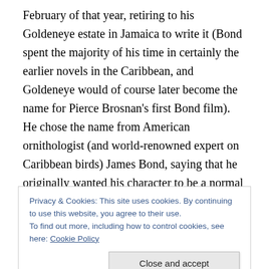February of that year, retiring to his Goldeneye estate in Jamaica to write it (Bond spent the majority of his time in certainly the earlier novels in the Caribbean, and Goldeneye would of course later become the name for Pierce Brosnan's first Bond film). He chose the name from American ornithologist (and world-renowned expert on Caribbean birds) James Bond, saying that he originally wanted his character to be a normal person to whom extraordinary things happened, and whilst this brief got distorted somewhat through his various revisions this drab name, combined with Bond's businesslike, unremarkable
Privacy & Cookies: This site uses cookies. By continuing to use this website, you agree to their use.
To find out more, including how to control cookies, see here: Cookie Policy
The books were an immediate hit, demonstrating a sharp